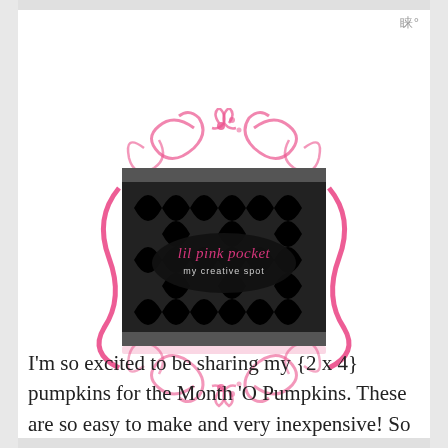[Figure (logo): Lil Pink Pocket my creative spot logo — black and white geometric circle pattern with pink floral/swirl decorative border and text overlay reading 'lil pink pocket my creative spot']
I'm so excited to be sharing my {2 x 4} pumpkins for the Month 'O Pumpkins. These are so easy to make and very inexpensive! So